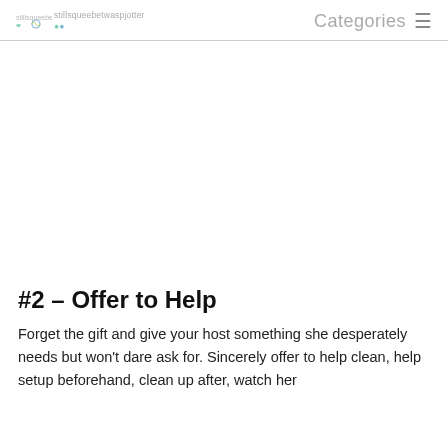Categories
[Figure (photo): Large image placeholder area (blank/white) occupying upper middle portion of the page]
#2 – Offer to Help
Forget the gift and give your host something she desperately needs but won't dare ask for. Sincerely offer to help clean, help setup beforehand, clean up after, watch her